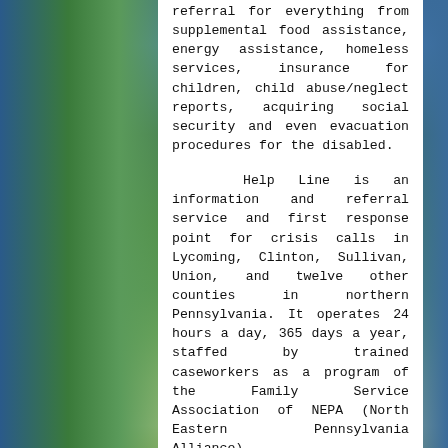referral for everything from supplemental food assistance, energy assistance, homeless services, insurance for children, child abuse/neglect reports, acquiring social security and even evacuation procedures for the disabled.
Help Line is an information and referral service and first response point for crisis calls in Lycoming, Clinton, Sullivan, Union, and twelve other counties in northern Pennsylvania. It operates 24 hours a day, 365 days a year, staffed by trained caseworkers as a program of the Family Service Association of NEPA (North Eastern Pennsylvania Alliance).
The idea of a 3-digit emergency number began with 911, which was established in 1968 by AT&T (who held a monopoly on phone service at the time). Other help services that would have appreciated a shortcut such as this